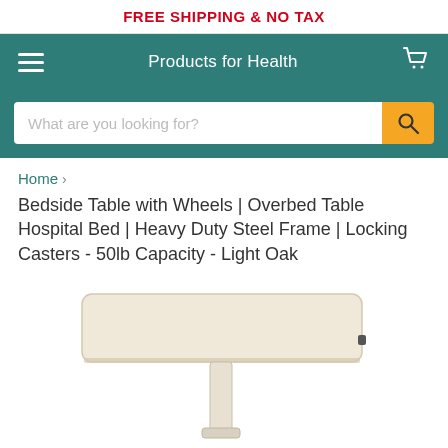FREE SHIPPING & NO TAX
Products for Health
What are you looking for?
Home › Bedside Table with Wheels | Overbed Table Hospital Bed | Heavy Duty Steel Frame | Locking Casters - 50lb Capacity - Light Oak
[Figure (photo): Product photo of a light oak overbed table with wheels, showing a wide rectangular tabletop on a single adjustable steel post with a base frame and casters.]